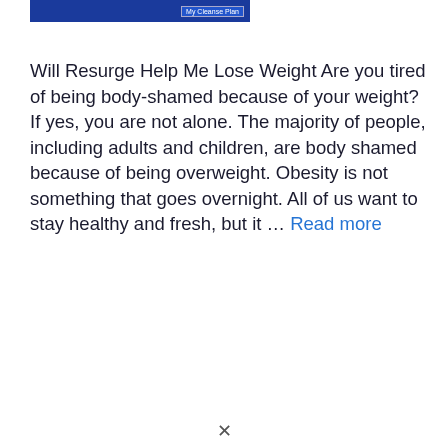[Figure (illustration): Blue banner/header image with text 'My Cleanse Plan' on the right side]
Will Resurge Help Me Lose Weight Are you tired of being body-shamed because of your weight? If yes, you are not alone. The majority of people, including adults and children, are body shamed because of being overweight. Obesity is not something that goes overnight. All of us want to stay healthy and fresh, but it … Read more